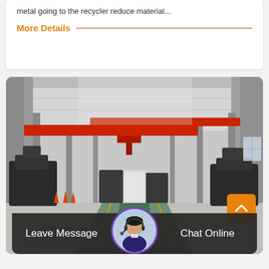metal going to the recycler reduce material...
More Details
[Figure (photo): Large industrial factory floor with heavy machinery, red overhead crane beams, and green striped concrete floor lanes]
Leave Message
Chat Online